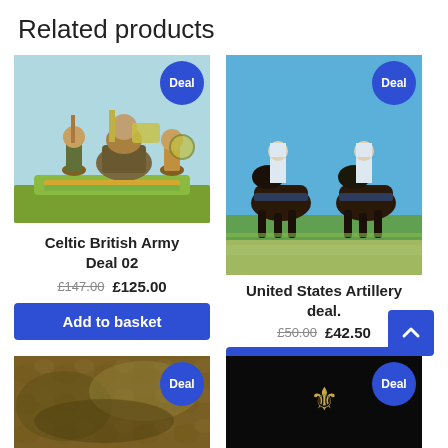Related products
[Figure (photo): Painted Celtic British Army miniature figurines on green base, light blue background, with 'Deal' badge in top right corner]
Celtic British Army Deal 02
£147.00 £125.00
Add to basket
[Figure (photo): Painted United States Artillery horses with white-uniformed riders on green grass, blue sky background, with 'Deal' badge in top right corner]
United States Artillery deal.
£50.00 £42.50
Add to basket
[Figure (photo): Brown/green terrain or foliage material, with 'Deal' badge]
[Figure (photo): Black background with gold eagle emblem, with 'Deal' badge]